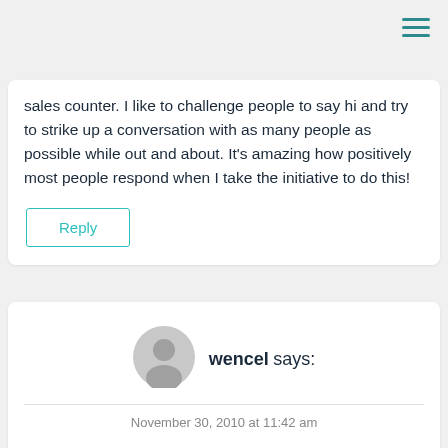[Figure (other): Hamburger menu icon (three horizontal teal lines) in top-right corner]
sales counter. I like to challenge people to say hi and try to strike up a conversation with as many people as possible while out and about. It's amazing how positively most people respond when I take the initiative to do this!
Reply
[Figure (other): User avatar placeholder icon — grey circular silhouette]
wencel says:
November 30, 2010 at 11:42 am